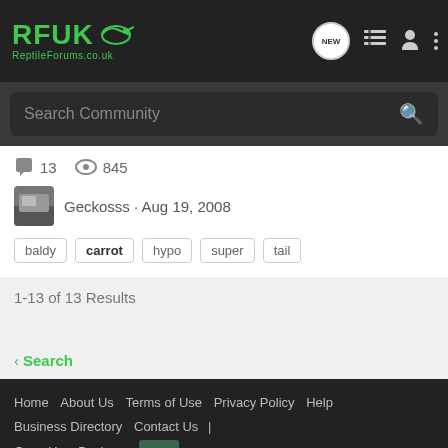RFUK ReptileForums.co.uk
Search Community
13 replies · 845 views · Geckosss · Aug 19, 2008
baldy
carrot
hypo
super
tail
1-13 of 13 Results
< Search
Home · About Us · Terms of Use · Privacy Policy · Help · Business Directory · Contact Us | · Grow Your Business NEW